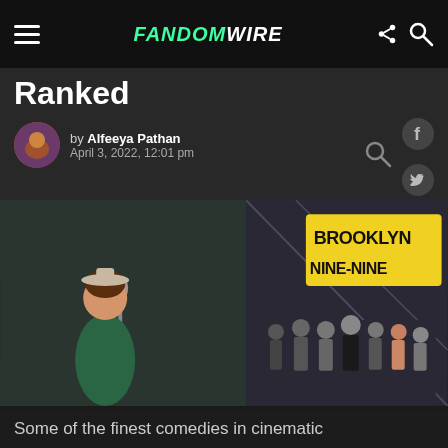FandomWire
Ranked
by Alfeeya Pathan
April 3, 2022, 12:01 pm
[Figure (photo): Composite image: left side shows a woman in vintage clothing standing at a microphone (The Marvelous Mrs. Maisel), right side shows the Brooklyn Nine-Nine cast standing on a bridge with the show's logo in yellow text]
Some of the finest comedies in cinematic